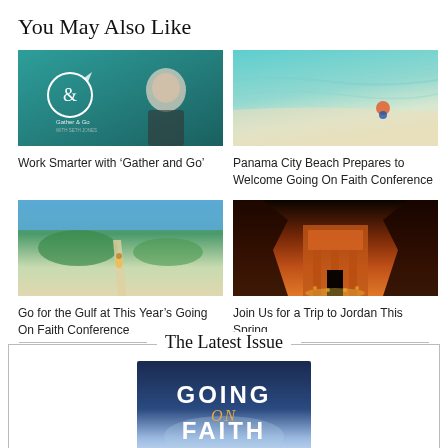You May Also Like
[Figure (photo): A man in a suit smiling in front of a teal branded background with 'Gather & Go' logo]
Work Smarter with ‘Gather and Go’
[Figure (photo): Aerial view of a beach with turquoise water and a person on the sand]
Panama City Beach Prepares to Welcome Going On Faith Conference
[Figure (photo): Aerial view of a gulf beach with green vegetation, a person walking on a sandy path, and blue ocean]
Go for the Gulf at This Year’s Going On Faith Conference
[Figure (photo): A dramatic shot of an ancient carved stone temple/treasury in Petra, Jordan, lit warmly at night]
Join Us for a Trip to Jordan This Spring
The Latest Issue
[Figure (photo): Cover of Going On Faith magazine showing bold text 'GOING ON FAITH' with subtitle 'The Way to Faith-Driven Travel Planner']